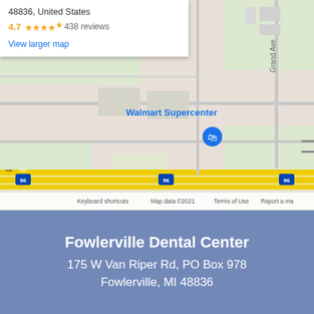[Figure (map): Google Maps screenshot showing Fowlerville Dental Center location near Walmart Supercenter and Interstate 96, with a red pin marker on the map. Includes info card with rating 4.7 stars and 438 reviews.]
48836, United States
4.7 ★★★★★ 438 reviews
View larger map
Fowlerville Dental Center
175 W Van Riper Rd, PO Box 978
Fowlerville, MI 48836